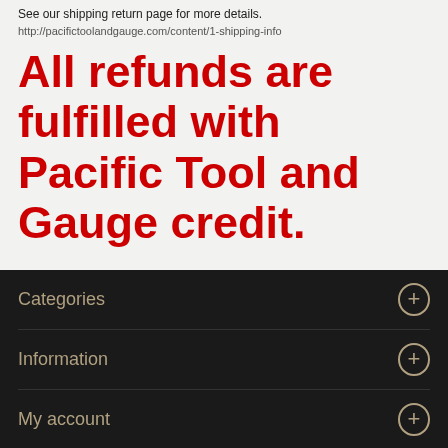See our shipping return page for more details.
http://pacifictoolandgauge.com/content/1-shipping-info
All refunds are fulfilled with Pacific Tool and Gauge credit.
Categories
Information
My account